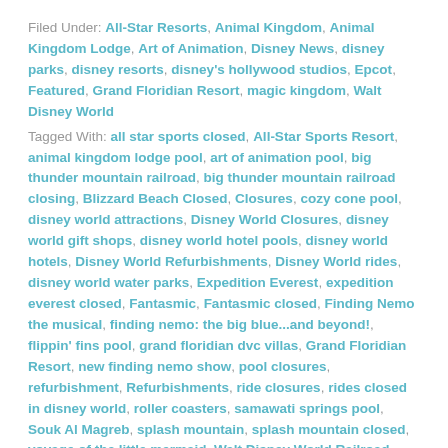Filed Under: All-Star Resorts, Animal Kingdom, Animal Kingdom Lodge, Art of Animation, Disney News, disney parks, disney resorts, disney's hollywood studios, Epcot, Featured, Grand Floridian Resort, magic kingdom, Walt Disney World
Tagged With: all star sports closed, All-Star Sports Resort, animal kingdom lodge pool, art of animation pool, big thunder mountain railroad, big thunder mountain railroad closing, Blizzard Beach Closed, Closures, cozy cone pool, disney world attractions, Disney World Closures, disney world gift shops, disney world hotel pools, disney world hotels, Disney World Refurbishments, Disney World rides, disney world water parks, Expedition Everest, expedition everest closed, Fantasmic, Fantasmic closed, Finding Nemo the musical, finding nemo: the big blue...and beyond!, flippin' fins pool, grand floridian dvc villas, Grand Floridian Resort, new finding nemo show, pool closures, refurbishment, Refurbishments, ride closures, rides closed in disney world, roller coasters, samawati springs pool, Souk Al Magreb, splash mountain, splash mountain closed, voyage of the little mermaid, Walt Disney World Railroad
A Major Form of Transportation